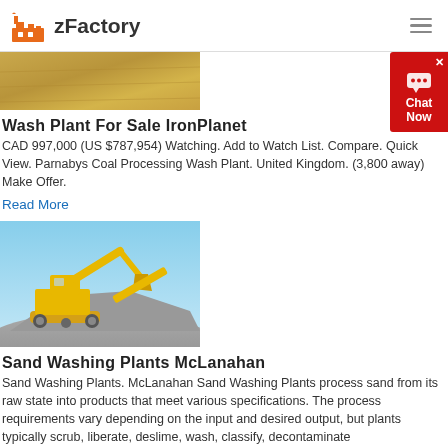zFactory
[Figure (photo): Partial view of a field/terrain image, cropped at top]
Wash Plant For Sale IronPlanet
CAD 997,000 (US $787,954) Watching. Add to Watch List. Compare. Quick View. Parnabys Coal Processing Wash Plant. United Kingdom. (3,800 away) Make Offer.
Read More
[Figure (photo): Yellow heavy machinery (excavator/crusher) working on a gravel/rock pile against a blue sky]
Sand Washing Plants McLanahan
Sand Washing Plants. McLanahan Sand Washing Plants process sand from its raw state into products that meet various specifications. The process requirements vary depending on the input and desired output, but plants typically scrub, liberate, deslime, wash, classify, decontaminate